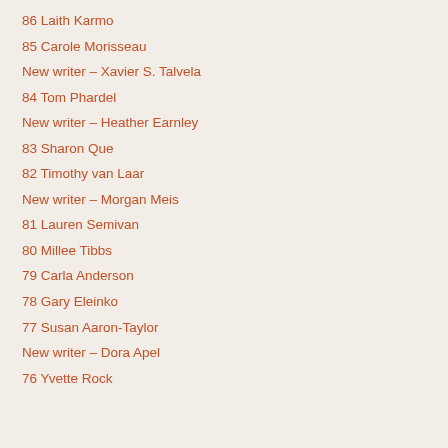86 Laith Karmo
85 Carole Morisseau
New writer – Xavier S. Talvela
84 Tom Phardel
New writer – Heather Earnley
83 Sharon Que
82 Timothy van Laar
New writer – Morgan Meis
81 Lauren Semivan
80 Millee Tibbs
79 Carla Anderson
78 Gary Eleinko
77 Susan Aaron-Taylor
New writer – Dora Apel
76 Yvette Rock